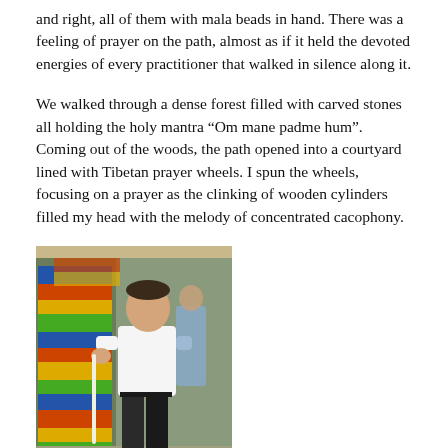and right, all of them with mala beads in hand. There was a feeling of prayer on the path, almost as if it held the devoted energies of every practitioner that walked in silence along it.
We walked through a dense forest filled with carved stones all holding the holy mantra "Om mane padme hum". Coming out of the woods, the path opened into a courtyard lined with Tibetan prayer wheels. I spun the wheels, focusing on a prayer as the clinking of wooden cylinders filled my head with the melody of concentrated cacophony.
[Figure (photo): A young man in a white polo shirt spinning large colorful Tibetan prayer wheels in a covered walkway.]
Up from the prayer wheels was a hill filled with Tibetan prayer flags hung between poles and trees. The belief is that the higher up you tie them, the luckier you will